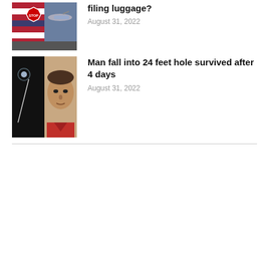[Figure (photo): Thumbnail image showing a STOP sign with American flag and aircraft in background]
filing luggage?
August 31, 2022
[Figure (photo): Thumbnail image showing a night sky with a light streak and a man's face portrait]
Man fall into 24 feet hole survived after 4 days
August 31, 2022